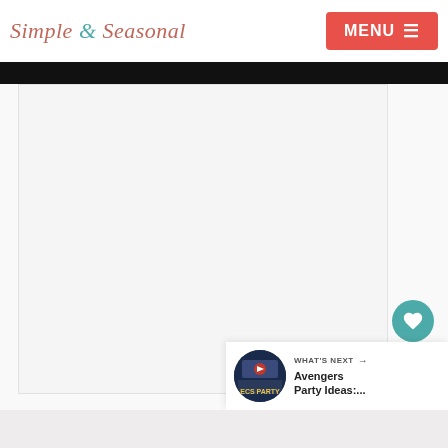Simple & Seasonal | MENU
[Figure (screenshot): Website screenshot of Simple & Seasonal blog with navigation header, hero image strip, content area, social sharing buttons (heart/save, count=1, share), and a 'What's Next' panel showing Avengers Party Ideas thumbnail.]